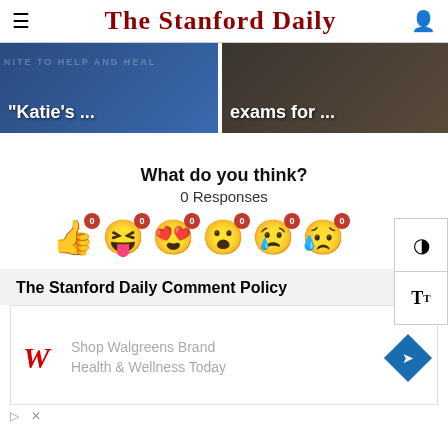The Stanford Daily
[Figure (screenshot): Two article thumbnail images side by side. Left image shows text overlay "Katie's ..." on a blue background with text 'UNITE TO HELP AND HEAL'. Right image shows text overlay 'exams for ...' on a dark background.]
What do you think?
0 Responses
[Figure (infographic): Six reaction emojis in a row, each with a red badge showing count of 0. Emojis: thumbs up, squinting tongue face, heart eyes, surprised/kissing face, crying face, sad/crying face.]
The Stanford Daily Comment Policy
[Figure (screenshot): Advertisement for Walgreens Brand Health & Wellness. Shows Walgreens logo (red italic W), text 'Shop Walgreens Brand Health & Wellness Today', and a blue diamond navigation icon. Below are small play and X icons.]